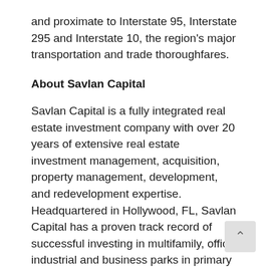and proximate to Interstate 95, Interstate 295 and Interstate 10, the region's major transportation and trade thoroughfares.
About Savlan Capital
Savlan Capital is a fully integrated real estate investment company with over 20 years of extensive real estate investment management, acquisition, property management, development, and redevelopment expertise. Headquartered in Hollywood, FL, Savlan Capital has a proven track record of successful investing in multifamily, office, industrial and business parks in primary markets throughout the Southeast and Texas. For more information,